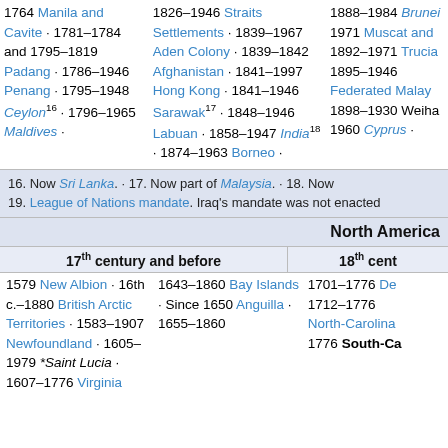1764 Manila and Cavite · 1781–1784 and 1795–1819 Padang · 1786–1946 Penang · 1795–1948 Ceylon16 · 1796–1965 Maldives ·
1826–1946 Straits Settlements · 1839–1967 Aden Colony · 1839–1842 Afghanistan · 1841–1997 Hong Kong · 1841–1946 Sarawak17 · 1848–1946 Labuan · 1858–1947 India18 · 1874–1963 Borneo ·
1888–1984 Brunei 1971 Muscat and 1892–1971 Trucial 1895–1946 Federated Malay 1898–1930 Weiha 1960 Cyprus ·
16. Now Sri Lanka. · 17. Now part of Malaysia. · 18. Now 19. League of Nations mandate. Iraq's mandate was not enacted
North America
| 17th century and before | 18th cent |
| --- | --- |
| 1579 New Albion · 16th c.–1880 British Arctic Territories · 1583–1907 Newfoundland · 1605–1979 *Saint Lucia · 1607–1776 Virginia | 1643–1860 Bay Islands · Since 1650 Anguilla · 1655–1860 | 1701–1776 De 1712–1776 North-Carolina 1776 South-Ca |